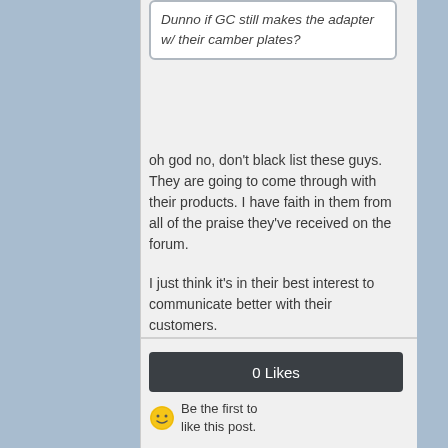Dunno if GC still makes the adapter w/ their camber plates?
oh god no, don't black list these guys. They are going to come through with their products. I have faith in them from all of the praise they've received on the forum.

I just think it's in their best interest to communicate better with their customers.
0 Likes
Be the first to like this post.